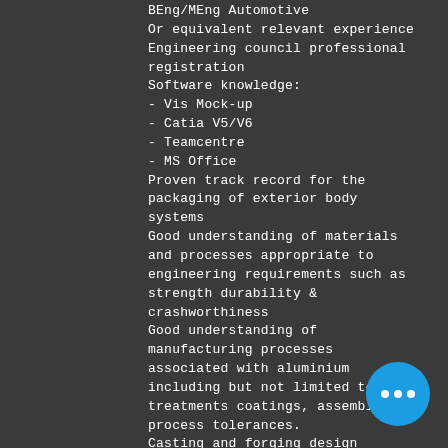BEng/MEng Automotive
Or equivalent relevant experience
Engineering council professional registration
Software knowledge:
- Vis Mock-up
- Catia V5/V6
- Teamcentre
- MS Office
Proven track record for the packaging of exterior body systems
Good understanding of materials and processes appropriate to engineering requirements such as strength durability & crashworthiness
Good understanding of manufacturing processes associated with aluminium including but not limited to heat treatments coatings, assembly and process tolerances.
Casting and forging design experience and understanding of high and low production rate drivers